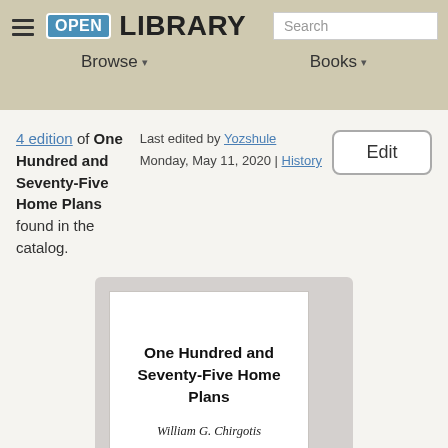Open Library — Browse | Books | Search
4 edition of One Hundred and Seventy-Five Home Plans found in the catalog.
Last edited by Yozshule
Monday, May 11, 2020 | History
Edit
[Figure (illustration): Book cover card showing title 'One Hundred and Seventy-Five Home Plans' by William G. Chirgotis on a light gray background]
One Hundred and Seventy-Five Home Plans
William G. Chirgotis